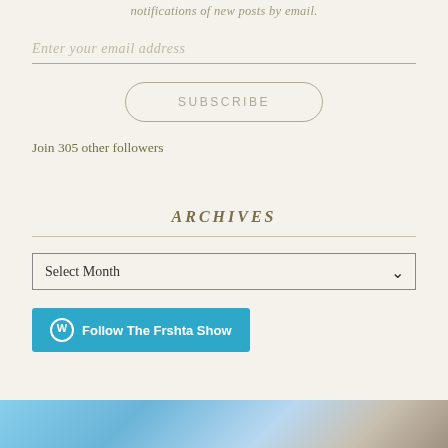notifications of new posts by email.
Enter your email address
SUBSCRIBE
Join 305 other followers
ARCHIVES
Select Month
Follow The Frshta Show
[Figure (photo): Partial view of a blue sky or outdoor scene at the bottom of the page]